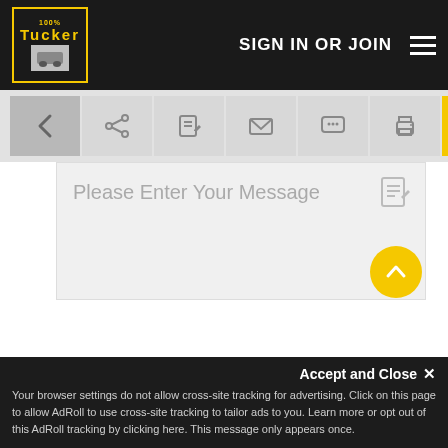SIGN IN OR JOIN
[Figure (screenshot): Website toolbar with back arrow, share, edit, email, chat, print, and heart (favorite) icons. Heart icon highlighted in yellow.]
Please Enter Your Message
[Figure (screenshot): Scroll-to-top button (yellow circle with upward chevron)]
Accept and Close ✕
Your browser settings do not allow cross-site tracking for advertising. Click on this page to allow AdRoll to use cross-site tracking to tailor ads to you. Learn more or opt out of this AdRoll tracking by clicking here. This message only appears once.